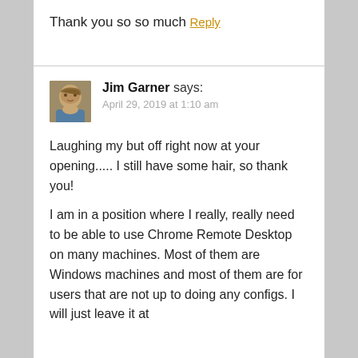Thank you so so much
Reply
Jim Garner says:
April 29, 2019 at 1:10 am
Laughing my but off right now at your opening..... I still have some hair, so thank you!
I am in a position where I really, really need to be able to use Chrome Remote Desktop on many machines. Most of them are Windows machines and most of them are for users that are not up to doing any configs. I will just leave it at